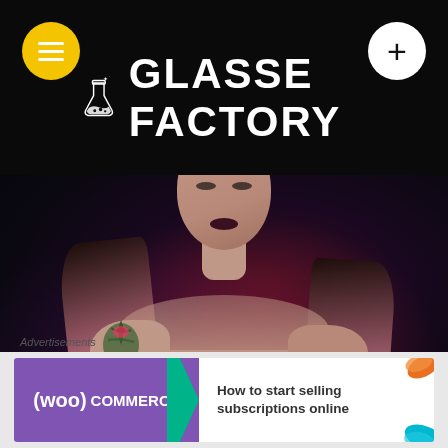[Figure (screenshot): Glasse Factory website header on dark background, showing logo with flask icon and brand name 'GLASSE FACTORY' in white handwritten font, yellow hamburger menu button on left, white plus button on right]
[Figure (photo): Fashion/editorial photo of a young woman with long wavy hair wearing a spiked crown/tiara headpiece, strapless white top, floral tattoo on shoulder, dramatic lighting with red/purple tones against dark background]
Advertisements
[Figure (screenshot): WooCommerce advertisement banner: purple background with WooCommerce logo and text 'How to start selling subscriptions online' with teal arrow and colorful leaf decorations]